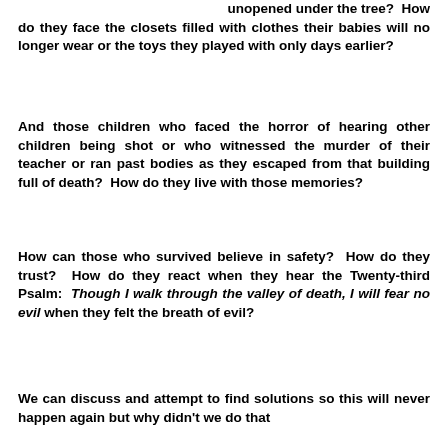unopened under the tree?  How do they face the closets filled with clothes their babies will no longer wear or the toys they played with only days earlier?
And those children who faced the horror of hearing other children being shot or who witnessed the murder of their teacher or ran past bodies as they escaped from that building full of death?  How do they live with those memories?
How can those who survived believe in safety?  How do they trust?  How do they react when they hear the Twenty-third Psalm:  Though I walk through the valley of death, I will fear no evil when they felt the breath of evil?
We can discuss and attempt to find solutions so this will never happen again but why didn't we do that